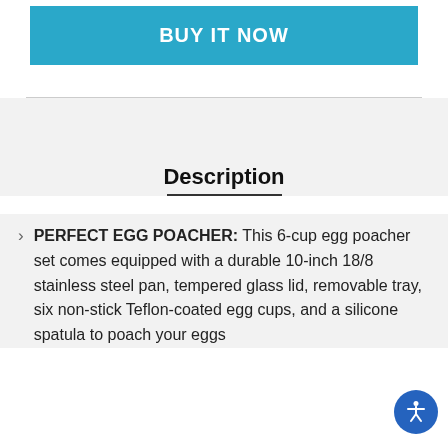[Figure (other): BUY IT NOW button — a wide teal/blue rectangle with white bold text]
Description
PERFECT EGG POACHER: This 6-cup egg poacher set comes equipped with a durable 10-inch 18/8 stainless steel pan, tempered glass lid, removable tray, six non-stick Teflon-coated egg cups, and a silicone spatula to poach your eggs